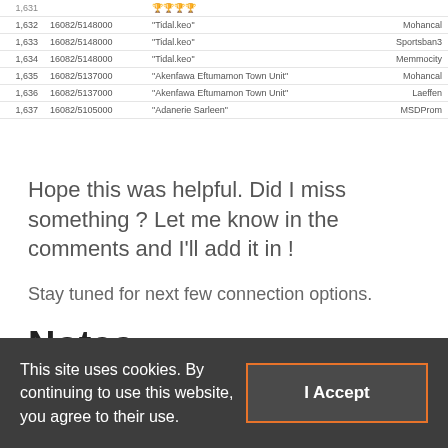| # | ID | Name | Type |
| --- | --- | --- | --- |
| 1,631 |  | 🏆🏆🏆🏆 |  |
| 1,632 | 16082/5148000 | "Tidal.keo" | Mohancal |
| 1,633 | 16082/5148000 | "Tidal.keo" | Sportsban3 |
| 1,634 | 16082/5148000 | "Tidal.keo" | Memmocity |
| 1,635 | 16082/5137000 | "Akenfawa Eftumamon Town Unit" | Mohancal |
| 1,636 | 16082/5137000 | "Akenfawa Eftumamon Town Unit" | Laeffen |
| 1,637 | 16082/5105000 | "Adanerie Sarleen" | MSDProm |
Hope this was helpful. Did I miss something ? Let me know in the comments and I'll add it in !
Stay tuned for next few connection options.
Notes
You can see the list of all containers by running
This site uses cookies. By continuing to use this website, you agree to their use.